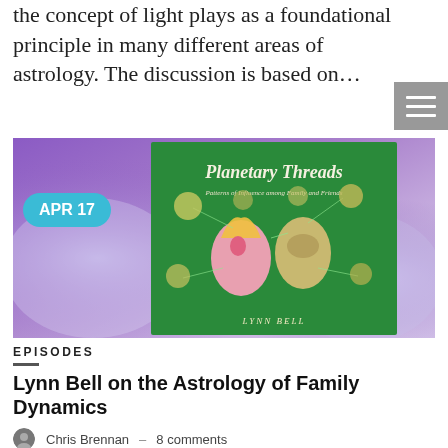the concept of light plays as a foundational principle in many different areas of astrology. The discussion is based on…
[Figure (photo): Book cover of 'Planetary Threads' by Lynn Bell showing two illustrated faces (a woman and a man) on a green background with a purple/blue cosmic background. A teal badge reads 'APR 17'.]
EPISODES
Lynn Bell on the Astrology of Family Dynamics
Chris Brennan – 8 comments
In episode 104 of the podcast astrologer Lynn Bell is the guest to talk about the